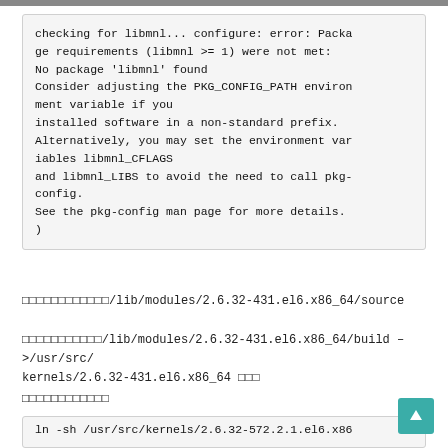[Figure (screenshot): Code/terminal output block showing a configure error for libmnl package]
□□□□□□□□□□□□/lib/modules/2.6.32-431.el6.x86_64/source
□□□□□□□□□□□/lib/modules/2.6.32-431.el6.x86_64/build –>/usr/src/kernels/2.6.32-431.el6.x86_64 □□□
□□□□□□□□□□□□
[Figure (screenshot): Start of another code block: ln -sh /usr/src/kernels/2.6.32-573.2.1.el6.x86...]